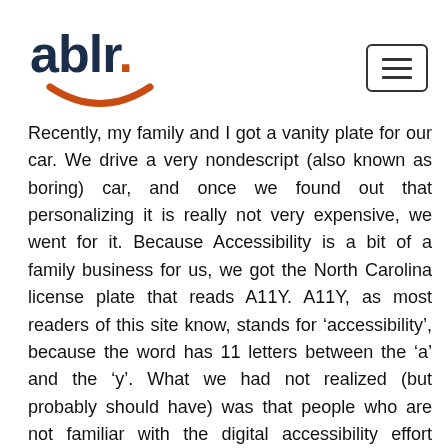[Figure (logo): ablr. logo with dark navy text and orange dot, and an orange smile/arc beneath the text]
Recently, my family and I got a vanity plate for our car. We drive a very nondescript (also known as boring) car, and once we found out that personalizing it is really not very expensive, we went for it. Because Accessibility is a bit of a family business for us, we got the North Carolina license plate that reads A11Y. A11Y, as most readers of this site know, stands for ‘accessibility’, because the word has 11 letters between the ‘a’ and the ‘y’. What we had not realized (but probably should have) was that people who are not familiar with the digital accessibility effort would